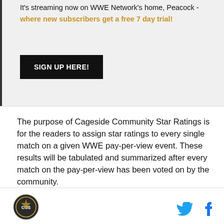It's streaming now on WWE Network's home, Peacock - where new subscribers get a free 7 day trial!
SIGN UP HERE!
The purpose of Cageside Community Star Ratings is for the readers to assign star ratings to every single match on a given WWE pay-per-view event. These results will be tabulated and summarized after every match on the pay-per-view has been voted on by the community.
[Figure (logo): Cageside Seats circular logo at bottom left]
[Figure (other): Twitter bird icon and Facebook f icon at bottom right]